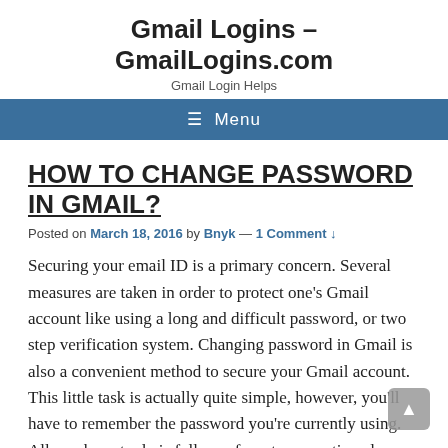Gmail Logins – GmailLogins.com
Gmail Login Helps
☰ Menu
HOW TO CHANGE PASSWORD IN GMAIL?
Posted on March 18, 2016 by Bnyk — 1 Comment ↓
Securing your email ID is a primary concern. Several measures are taken in order to protect one's Gmail account like using a long and difficult password, or two step verification system. Changing password in Gmail is also a convenient method to secure your Gmail account. This little task is actually quite simple, however, you'll have to remember the password you're currently using. All you have to do is follow a few steps mentioned below to learn